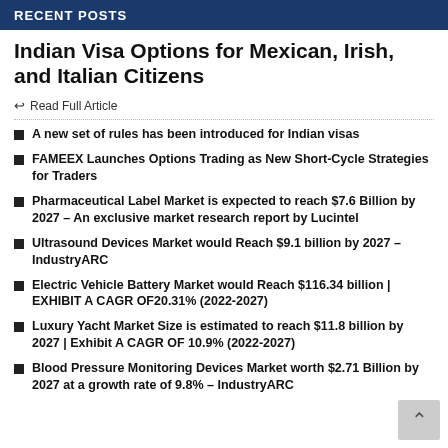RECENT POSTS
Indian Visa Options for Mexican, Irish, and Italian Citizens
← Read Full Article
A new set of rules has been introduced for Indian visas
FAMEEX Launches Options Trading as New Short-Cycle Strategies for Traders
Pharmaceutical Label Market is expected to reach $7.6 Billion by 2027 – An exclusive market research report by Lucintel
Ultrasound Devices Market would Reach $9.1 billion by 2027 – IndustryARC
Electric Vehicle Battery Market would Reach $116.34 billion | EXHIBIT A CAGR OF20.31% (2022-2027)
Luxury Yacht Market Size is estimated to reach $11.8 billion by 2027 | Exhibit A CAGR OF 10.9% (2022-2027)
Blood Pressure Monitoring Devices Market worth $2.71 Billion by 2027 at a growth rate of 9.8% – IndustryARC